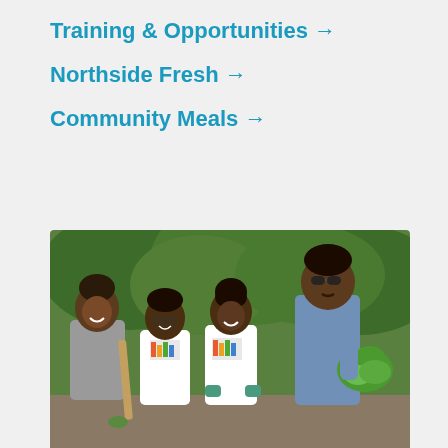Training & Opportunities →
Northside Fresh →
Community Meals →
[Figure (photo): Four people smiling outdoors in a garden setting. Two children and one adult woman on the left wearing 'Appetite for Change' t-shirts, with the woman holding a green garden fork. A tall man on the right wearing a denim shirt and sunglasses, holding a large bunch of fresh green lettuce. Lush green trees in the background.]